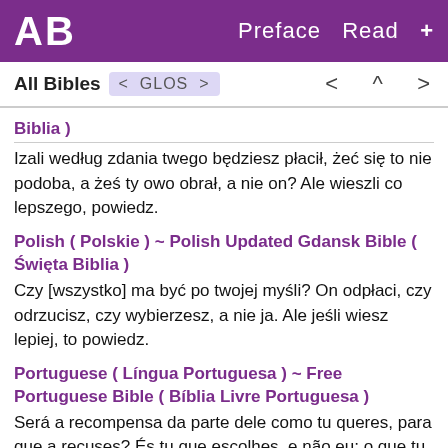AB  Preface  Read  +
All Bibles  < GLOS >  <  ^  >
Biblia )
Izali według zdania twego będziesz płacił, żeć się to nie podoba, a żeś ty owo obrał, a nie on? Ale wieszli co lepszego, powiedz.
Polish ( Polskie ) ~ Polish Updated Gdansk Bible ( Święta Biblia )
Czy [wszystko] ma być po twojej myśli? On odpłaci, czy odrzucisz, czy wybierzesz, a nie ja. Ale jeśli wiesz lepiej, to powiedz.
Portuguese ( Língua Portuguesa ) ~ Free Portuguese Bible ( Bíblia Livre Portuguesa )
Será a recompensa da parte dele como tu queres, para que a recuses? És tu que escolhes, e não eu; o que tu sabes, fala.